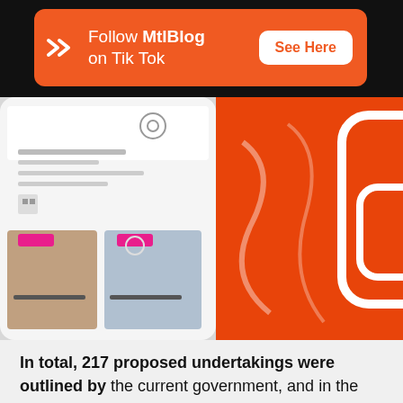[Figure (infographic): Orange MtlBlog advertisement banner with logo, text 'Follow MtlBlog on Tik Tok' and a white 'See Here' button on orange background.]
[Figure (screenshot): A TikTok app interface screenshot on the left and a large orange TikTok logo/icon on the right, showing the TikTok app profile and feed UI.]
In total, 217 proposed undertakings were outlined by the current government, and in the 127 days since Trudeau took office, 167 have yet to be tackled. That's quite a large number, but that isn't to say the Prime Minister has been sitting idly.